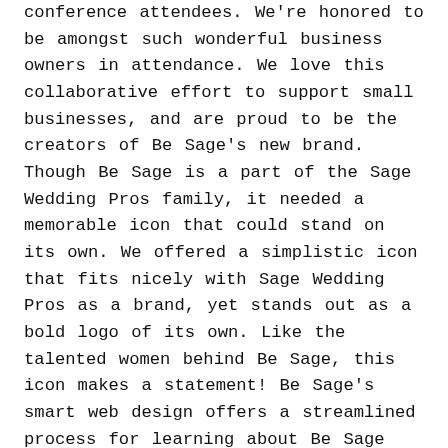conference attendees. We're honored to be amongst such wonderful business owners in attendance. We love this collaborative effort to support small businesses, and are proud to be the creators of Be Sage's new brand. Though Be Sage is a part of the Sage Wedding Pros family, it needed a memorable icon that could stand on its own. We offered a simplistic icon that fits nicely with Sage Wedding Pros as a brand, yet stands out as a bold logo of its own. Like the talented women behind Be Sage, this icon makes a statement! Be Sage's smart web design offers a streamlined process for learning about Be Sage conferences, buying tickets, and getting involved with the Be Sage community. This new website highlights upcoming speakers, streamlines ticket purchases, and shows off their sleek venue – all with a smart, bright, sage-worthy design, of course! Check out their website to learn more about this impressive meeting of the minds and to get the full tour